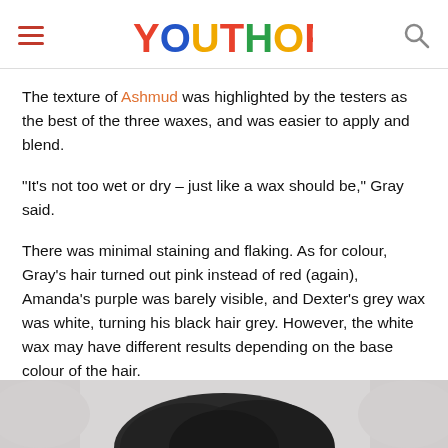YOUTHOPIA
The texture of Ashmud was highlighted by the testers as the best of the three waxes, and was easier to apply and blend.
“It’s not too wet or dry – just like a wax should be,” Gray said.
There was minimal staining and flaking. As for colour, Gray’s hair turned out pink instead of red (again), Amanda’s purple was barely visible, and Dexter’s grey wax was white, turning his black hair grey. However, the white wax may have different results depending on the base colour of the hair.
[Figure (photo): Bottom of page photo strip showing dark hair, partially visible]